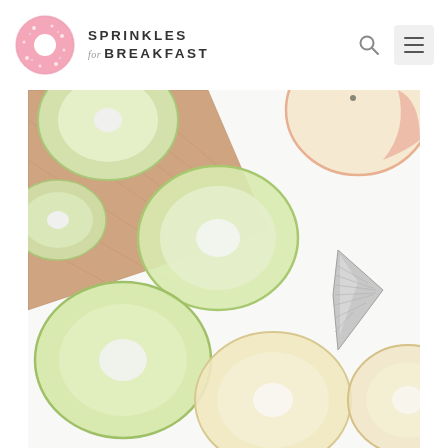[Figure (logo): Sprinkles for Breakfast logo: pink donut icon with sprinkles and hole, next to text 'SPRINKLES for BREAKFAST' in bold sans-serif with italic 'for']
[Figure (photo): Overhead flat-lay photo of sliced green and red apples arranged as donut shapes (with holes punched out) on a white surface with a wooden cutting board in the upper left corner and a silver metal piping tip on the right side]